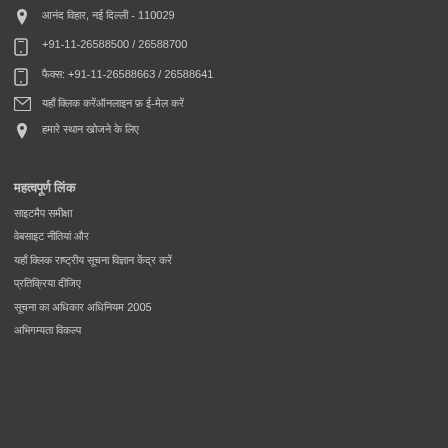आनंद विहार, नई दिल्ली - 110029
+91-11-26588500 / 26588700
फैक्स: +91-11-26588663 / 26588641
यहाँ क्लिक करेंऑनलाइन फ़ ई-मेल करें
हमारे स्थान खोजने के लिए
महत्वपूर्ण लिंक
साइटमैप समीक्षा
वेबसाइट नीतियां और
यहाँ क्लिक राष्ट्रीय सूचना विज्ञान केंद्र करें
प्रतिक्रिया दीजिए
सूचना का अधिकार अधिनियम 2005
अभिगम्यता विकल्प